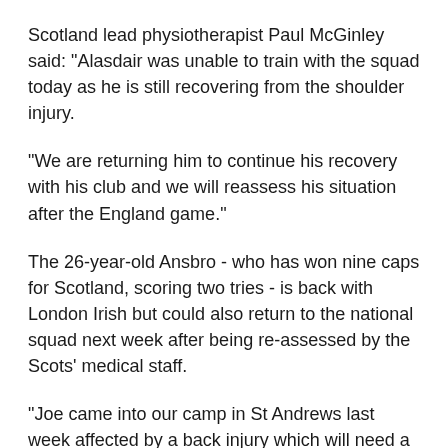Scotland lead physiotherapist Paul McGinley said: "Alasdair was unable to train with the squad today as he is still recovering from the shoulder injury.
"We are returning him to continue his recovery with his club and we will reassess his situation after the England game."
The 26-year-old Ansbro - who has won nine caps for Scotland, scoring two tries - is back with London Irish but could also return to the national squad next week after being re-assessed by the Scots' medical staff.
"Joe came into our camp in St Andrews last week affected by a back injury which will need a longer period of rehabilitation," said McGinley.
"This will be undertaken at his club and he will be reassessed following the England game."